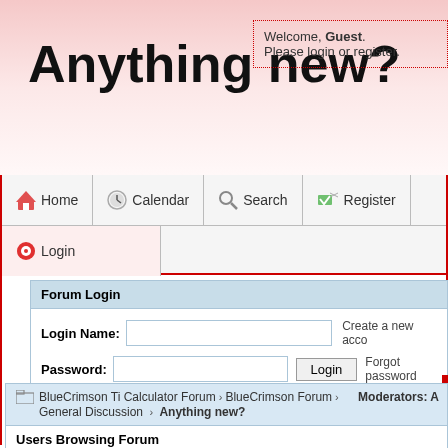Anything new?
Welcome, Guest. Please login or register.
Home
Calendar
Search
Register
Login
Forum Login
Login Name:
Password:
Create a new acco
Forgot password
BlueCrimson Ti Calculator Forum › BlueCrimson Forum › General Discussion › Anything new?
Moderators: A
Users Browsing Forum
No Members and 1 Guests
Anything new?
This thread currently has 17,974 views.
2 Pages  1  2  »  All
Recomm